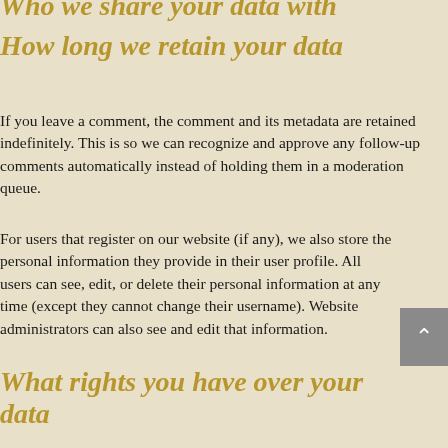Who we share your data with
How long we retain your data
If you leave a comment, the comment and its metadata are retained indefinitely. This is so we can recognize and approve any follow-up comments automatically instead of holding them in a moderation queue.
For users that register on our website (if any), we also store the personal information they provide in their user profile. All users can see, edit, or delete their personal information at any time (except they cannot change their username). Website administrators can also see and edit that information.
What rights you have over your data
If you have an account on this site or have left comments, you can request to receive an exported file of the personal data we hold